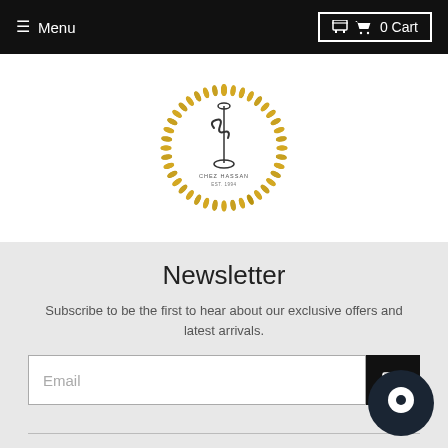Menu  0 Cart
[Figure (logo): Circular logo with golden laurel wreath border and stylized initials with a hookah/shisha silhouette in the center, text around bottom reading brand name]
Newsletter
Subscribe to be the first to hear about our exclusive offers and latest arrivals.
Email
Customer care
Learn more about us